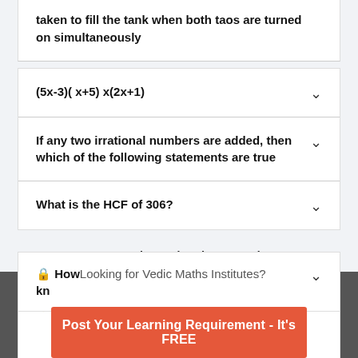taken to fill the tank when both taos are turned on simultaneously
(5x-3)( x+5) x(2x+1)
If any two irrational numbers are added, then which of the following statements are true
What is the HCF of 306?
Frequently Asked Questions
🔒 How do you know Vedic Maths?
Post Your Learning Requirement - It's FREE